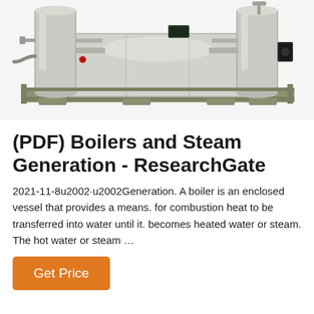[Figure (photo): Industrial boiler and steam generation equipment on a metal frame skid, showing stainless steel tanks, cylindrical vessels, pipes, and valves on a galvanized steel base frame.]
(PDF) Boilers and Steam Generation - ResearchGate
2021-11-8u2002·u2002Generation. A boiler is an enclosed vessel that provides a means. for combustion heat to be transferred into water until it. becomes heated water or steam. The hot water or steam …
Get Price